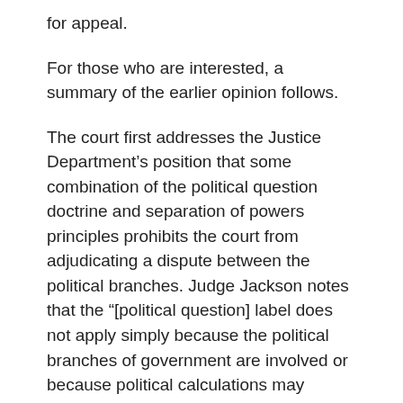for appeal.
For those who are interested, a summary of the earlier opinion follows.
The court first addresses the Justice Department’s position that some combination of the political question doctrine and separation of powers principles prohibits the court from adjudicating a dispute between the political branches. Judge Jackson notes that the “[political question] label does not apply simply because the political branches of government are involved or because political calculations may underlie their actions.” Rather, what is important is the nature of the underlying dispute. The question involved in this case, whether the President may invoke executive privilege, has long been recognized as one that the courts may decide. See United States v. Nixon, 418 U.S. 683 (1974). Judge Jackson finds nothing in Nixon or